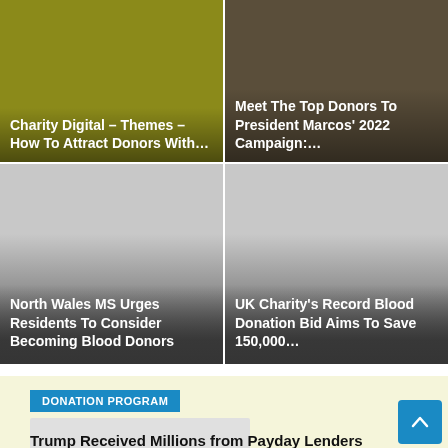[Figure (photo): Olive/yellow-green toned image card top-left]
Charity Digital – Themes – How To Attract Donors With…
[Figure (photo): Dark brown/cash money image card top-right]
Meet The Top Donors To President Marcos' 2022 Campaign:…
[Figure (photo): Grey gradient image card mid-left]
North Wales MS Urges Residents To Consider Becoming Blood Donors
[Figure (photo): Grey gradient image card mid-right]
UK Charity's Record Blood Donation Bid Aims To Save 150,000…
DONATION PROGRAM
[Figure (photo): Light grey placeholder image for donation program card]
Trump Received Millions from Payday Lenders